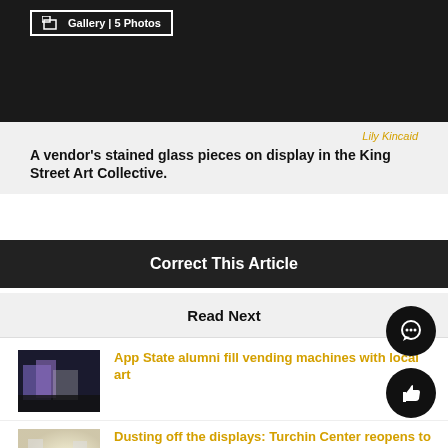[Figure (photo): Dark background top image area with a gallery badge overlay reading 'Gallery | 5 Photos']
Lily Kincaid
A vendor's stained glass pieces on display in the King Street Art Collective.
Correct This Article
Read Next
[Figure (photo): Dark interior gallery space with colorful art pieces on shelves]
App State alumni fill vending machines with local art
[Figure (photo): Bright lit white gallery interior space]
Dusting off the displays: Turchin Center reopens to the public
[Figure (photo): Purple/violet colored display with artwork]
BSA spotlights Black Arts